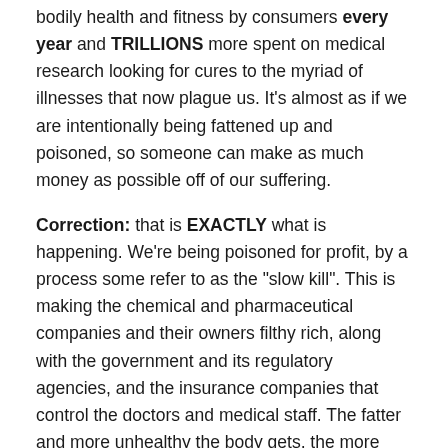bodily health and fitness by consumers every year and TRILLIONS more spent on medical research looking for cures to the myriad of illnesses that now plague us. It’s almost as if we are intentionally being fattened up and poisoned, so someone can make as much money as possible off of our suffering.
Correction: that is EXACTLY what is happening. We’re being poisoned for profit, by a process some refer to as the “slow kill”. This is making the chemical and pharmaceutical companies and their owners filthy rich, along with the government and its regulatory agencies, and the insurance companies that control the doctors and medical staff. The fatter and more unhealthy the body gets, the more likely it is to be sick and desperate for their expensive treatments and chemicals.